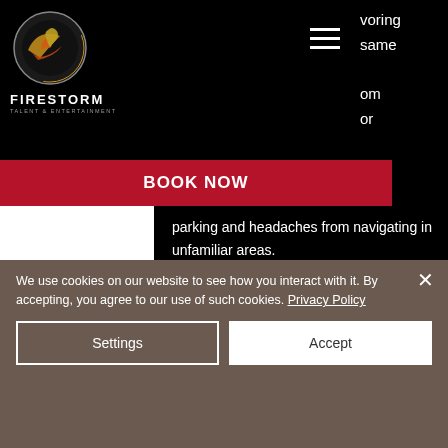[Figure (logo): Firestorm Talent & Entertainment logo — circular emblem with horse/phoenix icon, orange and gold tones, on black background]
voring
same
om
or
BOOK NOW
parking and headaches from navigating in unfamiliar areas.
At many events the sheer amount of flyers produced will be eliminated just by going virtual, even with hybrid events. However, purchasing updated equipment for a one
We use cookies on our website to see how you interact with it. By accepting, you agree to our use of such cookies. Privacy Policy
Settings
Accept